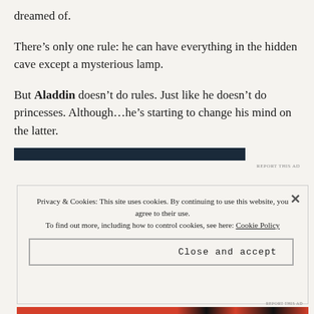dreamed of.
There’s only one rule: he can have everything in the hidden cave except a mysterious lamp.
But Aladdin doesn’t do rules. Just like he doesn’t do princesses. Although…he’s starting to change his mind on the latter.
[Figure (other): Dark navy blue horizontal advertisement bar]
REPORT THIS AD
Privacy & Cookies: This site uses cookies. By continuing to use this website, you agree to their use. To find out more, including how to control cookies, see here: Cookie Policy
Close and accept